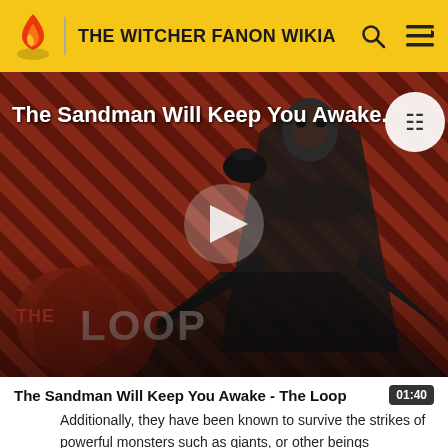THE WITCHER FANON WIKIA
[Figure (screenshot): Video thumbnail for 'The Sandman Will Keep You Awake - The Loop' showing a figure in a black cloak against a red diagonal-striped background with 'THE LOOP' logo overlay and a play button in the center.]
The Sandman Will Keep You Awake - The Loop
Additionally, they have been known to survive the strikes of powerful monsters such as giants, or other beings possessing herculean strength, that would otherwise kill others with a single blow. Its